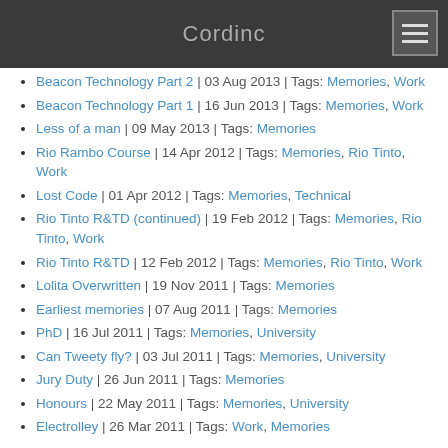Cordinc
Beacon Technology Part 2 | 03 Aug 2013 | Tags: Memories, Work
Beacon Technology Part 1 | 16 Jun 2013 | Tags: Memories, Work
Less of a man | 09 May 2013 | Tags: Memories
Rio Rambo Course | 14 Apr 2012 | Tags: Memories, Rio Tinto, Work
Lost Code | 01 Apr 2012 | Tags: Memories, Technical
Rio Tinto R&TD (continued) | 19 Feb 2012 | Tags: Memories, Rio Tinto, Work
Rio Tinto R&TD | 12 Feb 2012 | Tags: Memories, Rio Tinto, Work
Lolita Overwritten | 19 Nov 2011 | Tags: Memories
Earliest memories | 07 Aug 2011 | Tags: Memories
PhD | 16 Jul 2011 | Tags: Memories, University
Can Tweety fly? | 03 Jul 2011 | Tags: Memories, University
Jury Duty | 26 Jun 2011 | Tags: Memories
Honours | 22 May 2011 | Tags: Memories, University
Electrolley | 26 Mar 2011 | Tags: Work, Memories